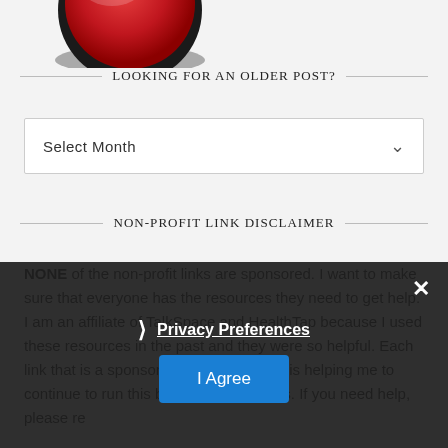[Figure (photo): Partial view of a red button product against white/light background, cropped at top of page]
LOOKING FOR AN OLDER POST?
Select Month
NON-PROFIT LINK DISCLAIMER
NONE of the non-profit links are sponsored. I want to make sure that everyone has the resources they need to get help. I am an affiliate of TalkSpace and HealthTap because I used these resources in the past and they were so helpful. Each link that is a sponsored link on this blog is helping me to continue to run this blog and help others. If you need help, please re…
Privacy Preferences
I Agree